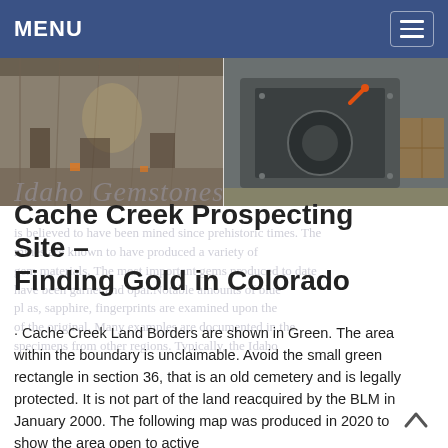MENU
[Figure (photo): Two industrial/mining facility interior photographs side by side showing equipment and machinery in a large warehouse space]
Cache Creek Prospecting Site – Finding Gold in Colorado
· Cache Creek Land Borders are shown in Green. The area within the boundary is unclaimable. Avoid the small green rectangle in section 36, that is an old cemetery and is legally protected. It is not part of the land reacquired by the BLM in January 2000. The following map was produced in 2020 to show the area open to active